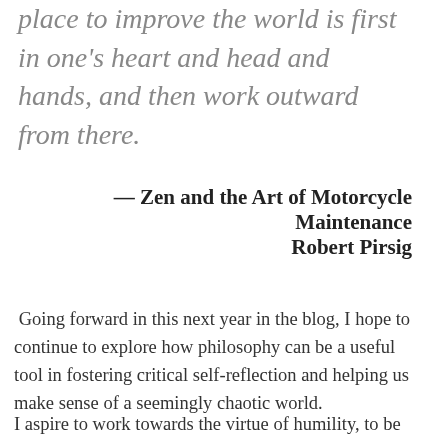place to improve the world is first in one's heart and head and hands, and then work outward from there.
— Zen and the Art of Motorcycle Maintenance Robert Pirsig
Going forward in this next year in the blog, I hope to continue to explore how philosophy can be a useful tool in fostering critical self-reflection and helping us make sense of a seemingly chaotic world.
I aspire to work towards the virtue of humility, to be